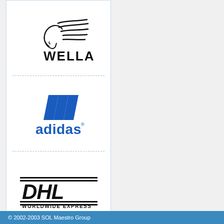[Figure (logo): Wella logo — woman's profile with flowing hair lines, text WELLA below]
[Figure (logo): Adidas logo — three blue parallel stripes forming a triangle, text 'adidas' in blue below with registered trademark symbol]
[Figure (logo): DHL Worldwide Express logo — bold black italic DHL text with horizontal lines, WORLDWIDE EXPRESS below]
More ▶
Become a customer ▶
© 2002-2003 SOL Maestro Group